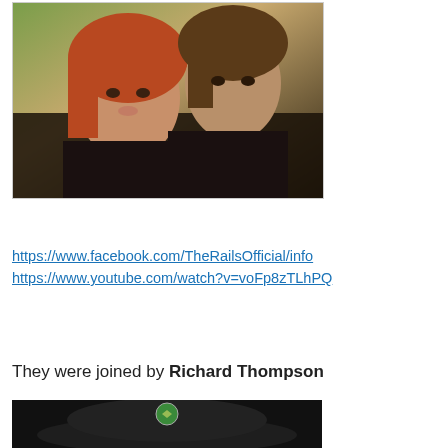[Figure (photo): Two people close together outdoors — a woman with red/auburn hair in front and a man with brown hair behind her, both wearing dark clothing, with a blurred autumn background.]
https://www.facebook.com/TheRailsOfficial/info
https://www.youtube.com/watch?v=voFp8zTLhPQ
They were joined by Richard Thompson
[Figure (photo): A person wearing a dark cap with a small round badge/pin on it, photographed from below against a dark background.]